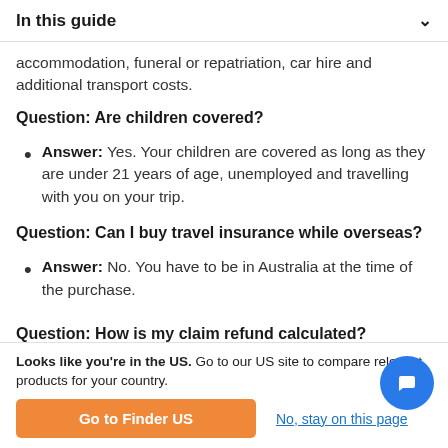In this guide
accommodation, funeral or repatriation, car hire and additional transport costs.
Question: Are children covered?
Answer: Yes. Your children are covered as long as they are under 21 years of age, unemployed and travelling with you on your trip.
Question: Can I buy travel insurance while overseas?
Answer: No. You have to be in Australia at the time of the purchase.
Question: How is my claim refund calculated?
Looks like you're in the US. Go to our US site to compare relevant products for your country.
Go to Finder US
No, stay on this page